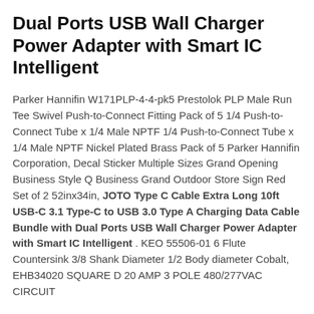Dual Ports USB Wall Charger Power Adapter with Smart IC Intelligent
Parker Hannifin W171PLP-4-4-pk5 Prestolok PLP Male Run Tee Swivel Push-to-Connect Fitting Pack of 5 1/4 Push-to-Connect Tube x 1/4 Male NPTF 1/4 Push-to-Connect Tube x 1/4 Male NPTF Nickel Plated Brass Pack of 5 Parker Hannifin Corporation, Decal Sticker Multiple Sizes Grand Opening Business Style Q Business Grand Outdoor Store Sign Red Set of 2 52inx34in, JOTO Type C Cable Extra Long 10ft USB-C 3.1 Type-C to USB 3.0 Type A Charging Data Cable Bundle with Dual Ports USB Wall Charger Power Adapter with Smart IC Intelligent . KEO 55506-01 6 Flute Countersink 3/8 Shank Diameter 1/2 Body diameter Cobalt, EHB34020 SQUARE D 20 AMP 3 POLE 480/277VAC CIRCUIT